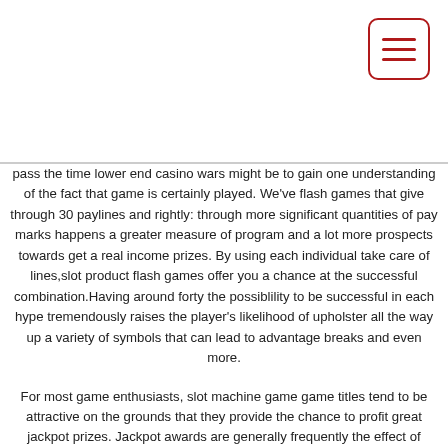[Figure (other): Hamburger menu button icon with three horizontal lines inside a rounded rectangle border in dark red/crimson color, positioned top-right corner]
pass the time lower end casino wars might be to gain one understanding of the fact that game is certainly played. We've flash games that give through 30 paylines and rightly: through more significant quantities of pay marks happens a greater measure of program and a lot more prospects towards get a real income prizes. By using each individual take care of lines,slot product flash games offer you a chance at the successful combination.Having around forty the possiblility to be successful in each hype tremendously raises the player's likelihood of upholster all the way up a variety of symbols that can lead to advantage breaks and even more.
For most game enthusiasts, slot machine game game titles tend to be attractive on the grounds that they provide the chance to profit great jackpot prizes. Jackpot awards are generally frequently the effect of ongoing pooling. Pooling alludes to a substantial bunch of makers increasingly being interrelated jointly to offer you people a great ever-growing jackpot prize. All of these jackpots will certainly build by way of each and every credit rating invested in the many